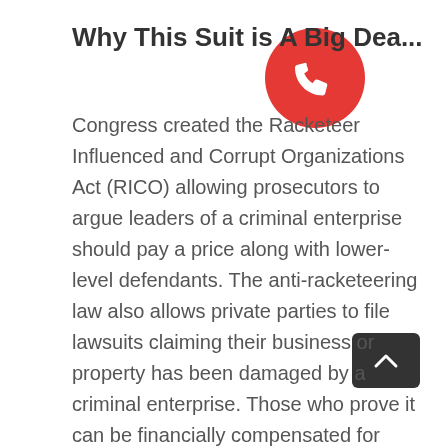Why This Suit is A Big Dea...
Congress created the Racketeer Influenced and Corrupt Organizations Act (RICO) allowing prosecutors to argue leaders of a criminal enterprise should pay a price along with lower-level defendants. The anti-racketeering law also allows private parties to file lawsuits claiming their business or property has been damaged by a criminal enterprise. Those who prove it can be financially compensated for damages times three, plus attorneys' expenses.
In 2015, those who opposed the marijuana industry decided to use this strategy against marijuana companies along with investors, insurers, state regulators and other players. A Denver-based federal appeals court ruled in 2017 that the couple could use anti-racketeering law to sue the licensed cannabis grower neighboring their property. Insurance companies